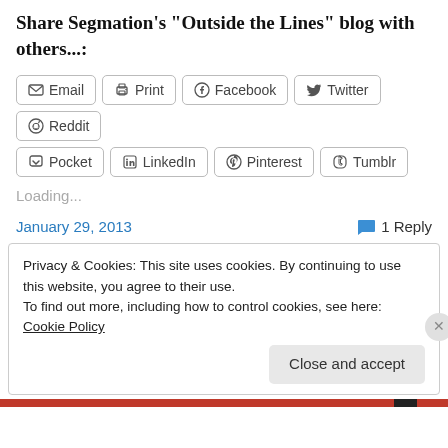Share Segmation's "Outside the Lines" blog with others...:
Email
Print
Facebook
Twitter
Reddit
Pocket
LinkedIn
Pinterest
Tumblr
Loading...
January 29, 2013
1 Reply
Privacy & Cookies: This site uses cookies. By continuing to use this website, you agree to their use.
To find out more, including how to control cookies, see here: Cookie Policy
Close and accept